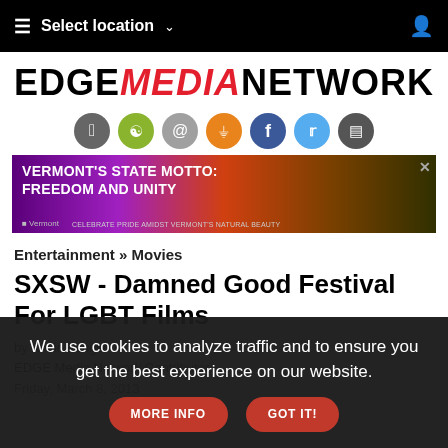Select location
[Figure (logo): EDGE MEDIA NETWORK logo with MEDIA in red italic and EDGE/NETWORK in black bold]
[Figure (infographic): Seven social media circular icons: Apple (gray), Android (green), Email (gray), RSS (orange), Facebook (blue), Twitter (light blue), Instagram (dark gray)]
[Figure (photo): Advertisement banner: VERMONT'S STATE MOTTO: FREEDOM AND UNITY - CELEBRATE PRIDE AMIDST VERMONT'S NATURAL BEAUTY]
Entertainment » Movies
SXSW - Damned Good Festival For LGBT Films
by Kevin Langson
EDGE Media Network Contributor
Friday, March 8, 2013
We use cookies to analyze traffic and to ensure you get the best experience on our website.